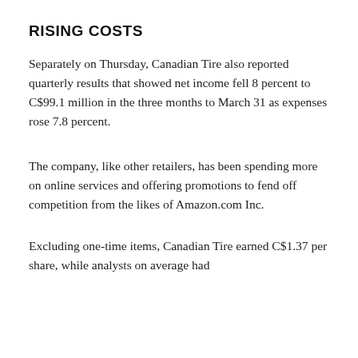RISING COSTS
Separately on Thursday, Canadian Tire also reported quarterly results that showed net income fell 8 percent to C$99.1 million in the three months to March 31 as expenses rose 7.8 percent.
The company, like other retailers, has been spending more on online services and offering promotions to fend off competition from the likes of Amazon.com Inc.
Excluding one-time items, Canadian Tire earned C$1.37 per share, while analysts on average had